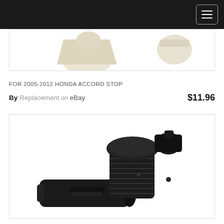Navigation header with hamburger menu
[Figure (photo): Partial product photo showing beige/cream colored automotive stop parts on white background]
FOR 2005-2012 HONDA ACCORD STOP
By Replacement on eBay $11.96
[Figure (photo): Black plastic automotive stop/bumper component with threaded body and disc-shaped caps, shown on white background]